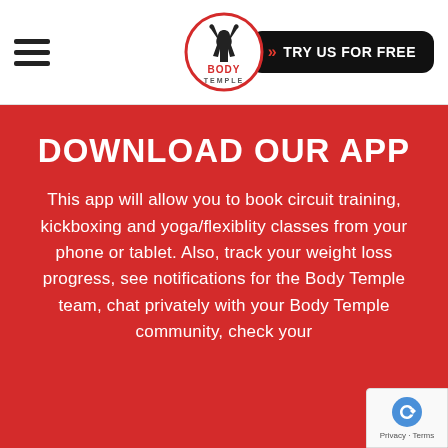Body Temple — TRY US FOR FREE
DOWNLOAD OUR APP
This app will allow you to book circuit training, kickboxing and yoga/flexiblity classes from your phone or tablet. Also, track your weight loss progress, see notifications for the Body Temple team, chat privately with your Body Temple community, check your